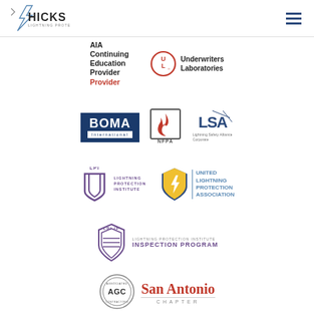[Figure (logo): Hicks Lightning Protection company logo with lightning bolt and company name]
[Figure (logo): Hamburger menu icon (three horizontal lines)]
[Figure (logo): AIA Continuing Education Provider logo text]
[Figure (logo): Underwriters Laboratories (UL) circular logo with text]
[Figure (logo): BOMA International logo in dark blue box]
[Figure (logo): NFPA logo with flame icon in square border]
[Figure (logo): LSA Lightning Safety Alliance Corporate logo]
[Figure (logo): LPI Lightning Protection Institute logo with shield icon]
[Figure (logo): United Lightning Protection Association logo with shield and lightning bolt]
[Figure (logo): LPI-IP Lightning Protection Institute Inspection Program logo]
[Figure (logo): AGC Associated General Contractors circular seal logo]
[Figure (logo): San Antonio Chapter text logo]